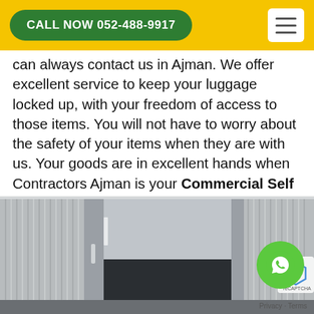CALL NOW 052-488-9917
can always contact us in Ajman. We offer excellent service to keep your luggage locked up, with your freedom of access to those items. You will not have to worry about the safety of your items when they are with us. Your goods are in excellent hands when Contractors Ajman is your Commercial Self Storage solution company.
[Figure (photo): Interior of a commercial self-storage unit with white corrugated metal walls, open large door, and dark floor.]